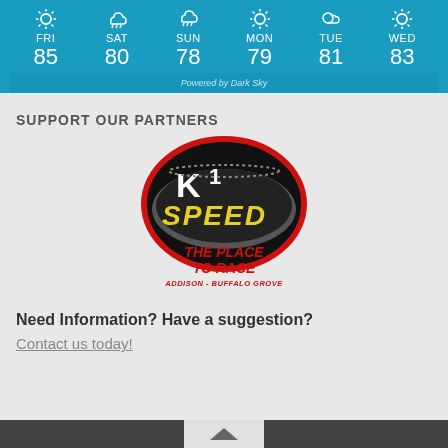[Figure (screenshot): Weather widget showing 6-day forecast: FRI 85, SAT 80, SUN 78, MON 79, TUE 81, WED 83. Blue background with weather icons. Powered by Dark Sky.]
SUPPORT OUR PARTNERS
[Figure (logo): K1 Speed logo - oval black and red logo with K1 SPEED text, below reads THE PLACE TO RACE, ADDISON - BUFFALO GROVE]
Need Information? Have a suggestion?
Contact us today!